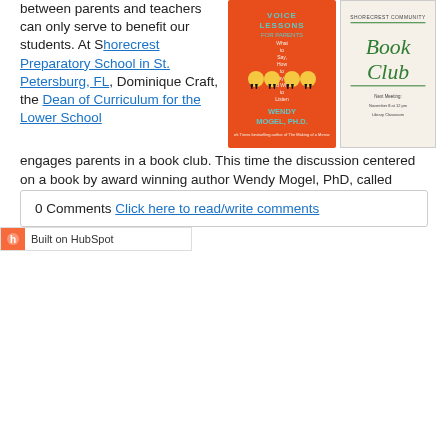between parents and teachers can only serve to benefit our students. At Shorecrest Preparatory School in St. Petersburg, FL, Dominique Craft, the Dean of Curriculum for the Lower School engages parents in a book club. This time the discussion centered on a book by award winning author Wendy Mogel, PhD, called Voice Lessons. Mrs. Craft has written a review of this book and taken notes on this month's conversation.
[Figure (photo): Book cover of Voice Lessons for Parents by Wendy Mogel, PhD]
[Figure (photo): Shorecrest Community Book Club announcement card]
Read More
0 Comments Click here to read/write comments